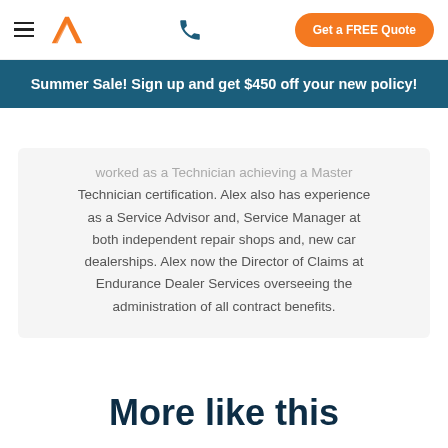Summer Sale! Sign up and get $450 off your new policy!
worked as a Technician achieving a Master Technician certification. Alex also has experience as a Service Advisor and, Service Manager at both independent repair shops and, new car dealerships. Alex now the Director of Claims at Endurance Dealer Services overseeing the administration of all contract benefits.
More like this